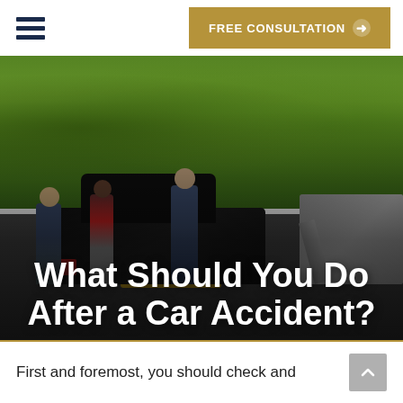FREE CONSULTATION →
[Figure (photo): Police officers at a car accident scene on a road, two police officers speaking with a civilian near a dark SUV police vehicle, with green trees in the background and another vehicle on the right side]
What Should You Do After a Car Accident?
First and foremost, you should check and